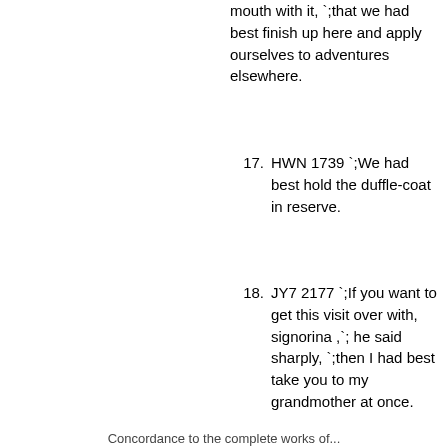mouth with it, `;that we had best finish up here and apply ourselves to adventures elsewhere.
17. HWN 1739 `;We had best hold the duffle-coat in reserve.
18. JY7 2177 `;If you want to get this visit over with, signorina ,`; he said sharply, `;then I had best take you to my grandmother at once.
19. K95 180 Though,`; he smiled at the girl, `;Mistress Philippa and Geoffrey had best stay together.
20. K95 2567 `;You had best hurry home, Brother.
Concordance to the complete works of...